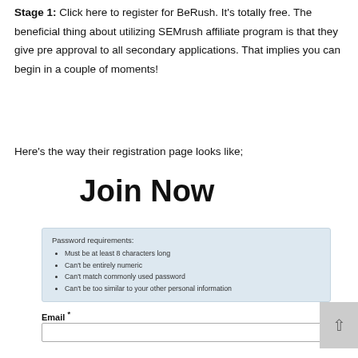Stage 1: Click here to register for BeRush. It's totally free. The beneficial thing about utilizing SEMrush affiliate program is that they give pre approval to all secondary applications. That implies you can begin in a couple of moments!
Here's the way their registration page looks like;
[Figure (screenshot): Screenshot of a registration page showing a 'Join Now' heading, a password requirements box listing requirements (Must be at least 8 characters long, Can't be entirely numeric, Can't match commonly used password, Can't be too similar to your other personal information), and an Email field with a text input box.]